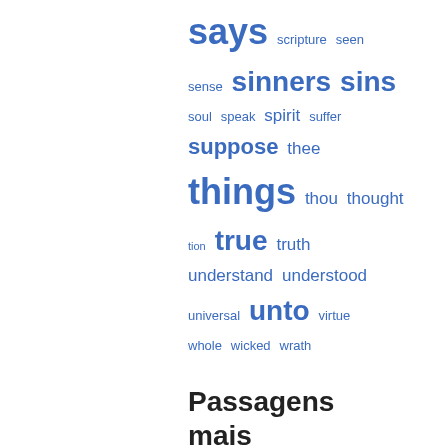[Figure (infographic): Word cloud with terms of varying sizes in blue: says (large), scripture, seen, sense, sinners (large), sins (large), soul, speak, spirit, suffer, suppose (medium-large), thee, things (very large), thou, thought, tion, true (large), truth, understand, understood, universal, unto (large), virtue, whole, wicked, wrath]
Passagens mais conhecidas
Página 302 - The God of Abraham, and of Isaac, and of Jacob, the God of our fathers, hath glorified his Son Jesus; whom ye